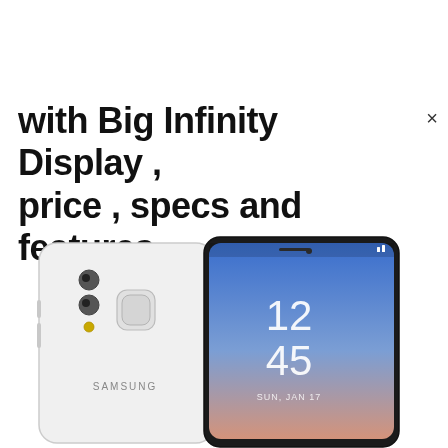with Big Infinity Display , price , specs and features
[Figure (photo): Two Samsung smartphones side by side — one showing the back (white, with dual camera and fingerprint sensor, Samsung logo) and one showing the front with Infinity Display showing 12:45 time on a gradient pink-blue lock screen.]